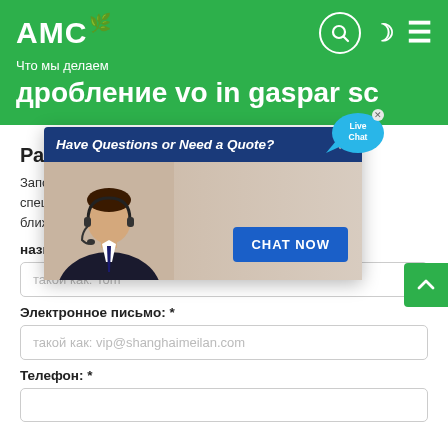АМС
Что мы делаем
дробление vo in gaspar sc
Расскажите нам, что вы ищете?
Заполните и наши специалисты в ближайшее дены.
название: *
такой как: Tom
Электронное письмо: *
такой как: vip@shanghaimeilan.com
Телефон: *
[Figure (screenshot): Live chat popup widget with header 'Have Questions or Need a Quote?', a customer service representative photo, and a 'CHAT NOW' button. Also shows a 'Live Chat' bubble in upper right.]